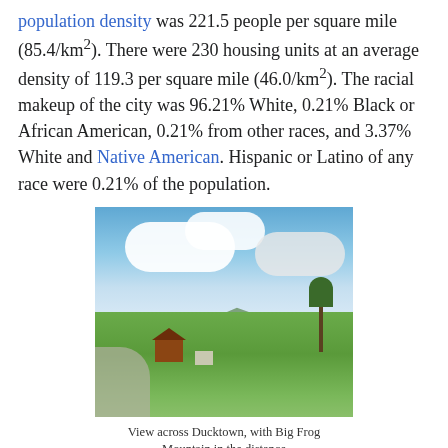population density was 221.5 people per square mile (85.4/km²). There were 230 housing units at an average density of 119.3 per square mile (46.0/km²). The racial makeup of the city was 96.21% White, 0.21% Black or African American, 0.21% from other races, and 3.37% White and Native American. Hispanic or Latino of any race were 0.21% of the population.
[Figure (photo): View across Ducktown, with Big Frog Mountain in the distance. Rural landscape with green fields, farm buildings, trees, and mountains in the background under a partly cloudy sky.]
View across Ducktown, with Big Frog Mountain in the distance
There were 209 households, out of which 16.3% had children under the age of 18 living with them, 37.8% were